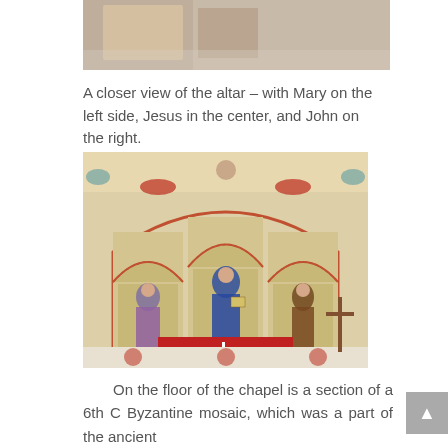[Figure (photo): Partial top view of a church interior, cropped at the top of the page]
A closer view of the altar – with Mary on the left side, Jesus in the center, and John on the right.
[Figure (photo): Interior of a chapel showing the altar with Byzantine-style painted icons: Mary on the left, Jesus in the center, and John on the right, with red decorative borders and arched alcoves. Red altar cloth with a cross, and decorative floor panels visible.]
On the floor of the chapel is a section of a 6th C Byzantine mosaic, which was a part of the ancient